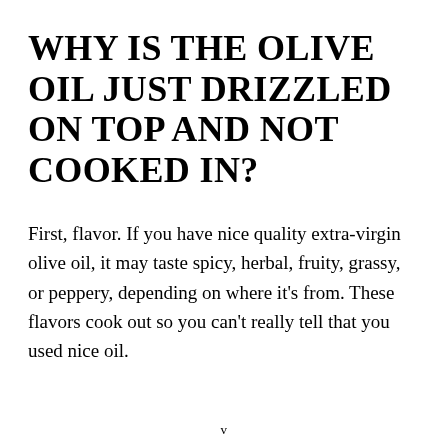WHY IS THE OLIVE OIL JUST DRIZZLED ON TOP AND NOT COOKED IN?
First, flavor. If you have nice quality extra-virgin olive oil, it may taste spicy, herbal, fruity, grassy, or peppery, depending on where it’s from. These flavors cook out so you can’t really tell that you used nice oil.
v